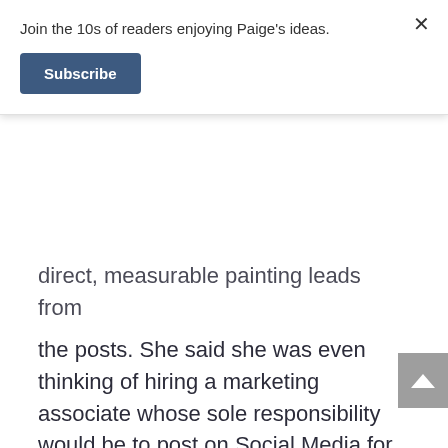Join the 10s of readers enjoying Paige’s ideas.
Subscribe
direct, measurable painting leads from the posts. She said she was even thinking of hiring a marketing associate whose sole responsibility would be to post on Social Media for her business.
I assured her this would not be a good use of her finite marketing dollars.